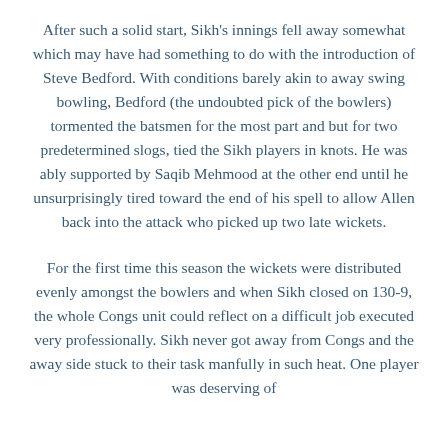After such a solid start, Sikh's innings fell away somewhat which may have had something to do with the introduction of Steve Bedford. With conditions barely akin to away swing bowling, Bedford (the undoubted pick of the bowlers) tormented the batsmen for the most part and but for two predetermined slogs, tied the Sikh players in knots. He was ably supported by Saqib Mehmood at the other end until he unsurprisingly tired toward the end of his spell to allow Allen back into the attack who picked up two late wickets.
For the first time this season the wickets were distributed evenly amongst the bowlers and when Sikh closed on 130-9, the whole Congs unit could reflect on a difficult job executed very professionally. Sikh never got away from Congs and the away side stuck to their task manfully in such heat. One player was deserving of